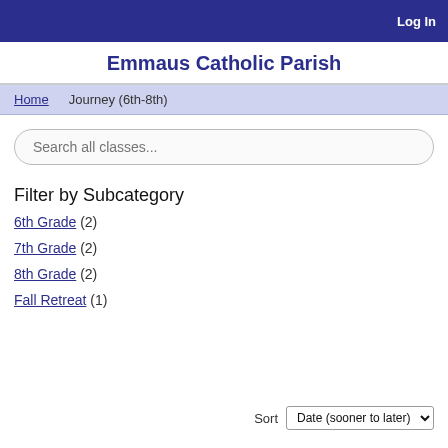Log In
Emmaus Catholic Parish
Home   Journey (6th-8th)
Search all classes...
Filter by Subcategory
6th Grade (2)
7th Grade (2)
8th Grade (2)
Fall Retreat (1)
Sort  Date (sooner to later)